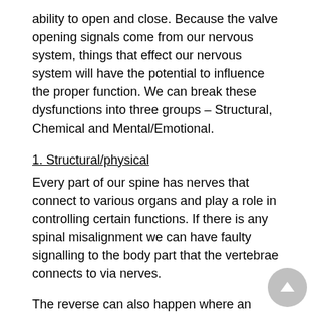ability to open and close. Because the valve opening signals come from our nervous system, things that effect our nervous system will have the potential to influence the proper function. We can break these dysfunctions into three groups – Structural, Chemical and Mental/Emotional.
1. Structural/physical
Every part of our spine has nerves that connect to various organs and play a role in controlling certain functions. If there is any spinal misalignment we can have faulty signalling to the body part that the vertebrae connects to via nerves.
The reverse can also happen where an inflamed organ can then inflame the nerve that runs to the spine and you may get a back ache. This is called referred pain and explains why some of the symptoms you may experience